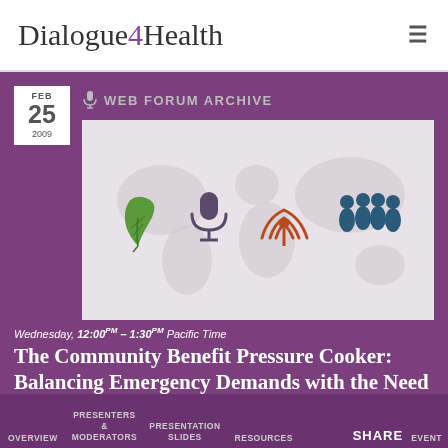Dialogue4Health
WEB FORUM ARCHIVE
FEB 25 2009
[Figure (illustration): World map background with icons: green feather/leaf, microphone, broadcast signal tower, group of people silhouettes]
Wednesday, 12:00PM – 1:30PM Pacific Time
The Community Benefit Pressure Cooker: Balancing Emergency Demands with the Need to Build Healthier
Presenters: Kevin Barnett, Mark Rukavina, Abbie Yant, Silvia Prieto
OVERVIEW  PRESENTERS & MODERATORS  PRESENTATION SLIDES  RESOURCES  SHARE  EVENT